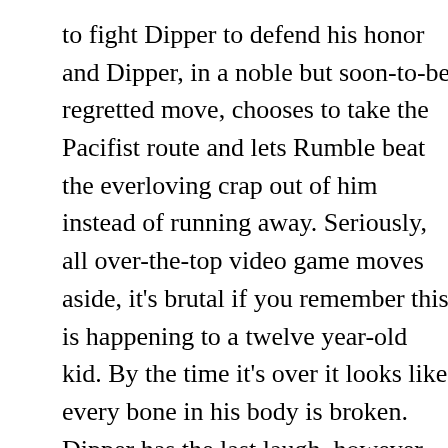to fight Dipper to defend his honor and Dipper, in a noble but soon-to-be regretted move, chooses to take the Pacifist route and lets Rumble beat the everloving crap out of him instead of running away. Seriously, all over-the-top video game moves aside, it's brutal if you remember this is happening to a twelve year-old kid. By the time it's over it looks like every bone in his body is broken. Dipper has the last laugh, however, because once Rumble does his victory cutscene animation, he's transported back into his game for good.
Robbie, thoroughly traumatized after everything that's transpired asks just why the hell all the crazy stuff happens whenever Dipper's around. Dipper doesn't have an answer but he's sure about one thing – he's not going to run and hide from Robbie any more. Robbie is ready to let him have it but hesitates when Dipper refuses to even flinch. He backs off, saying